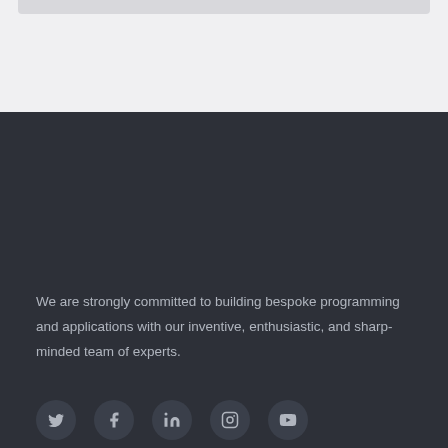We are strongly committed to building bespoke programming and applications with our inventive, enthusiastic, and sharp-minded team of experts.
[Figure (other): Row of five social media icon circles (Twitter, Facebook, LinkedIn, Instagram, YouTube) on dark background]